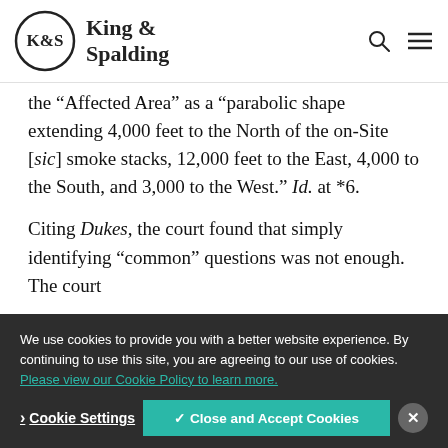[Figure (logo): King & Spalding law firm logo with K&S in a circle and firm name text, plus search and menu icons in header]
the “Affected Area” as a “parabolic shape extending 4,000 feet to the North of the on-Site [sic] smoke stacks, 12,000 feet to the East, 4,000 to the South, and 3,000 to the West.” Id. at *6.
Citing Dukes, the court found that simply identifying “common” questions was not enough. The court
We use cookies to provide you with a better website experience. By continuing to use this site, you are agreeing to our use of cookies. Please view our Cookie Policy to learn more.